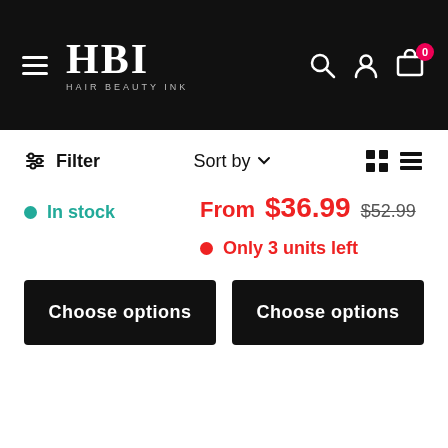HBI HAIR BEAUTY INK
Filter | Sort by | grid/list view icons
In stock
From $36.99  $52.99
Only 3 units left
Choose options
Choose options